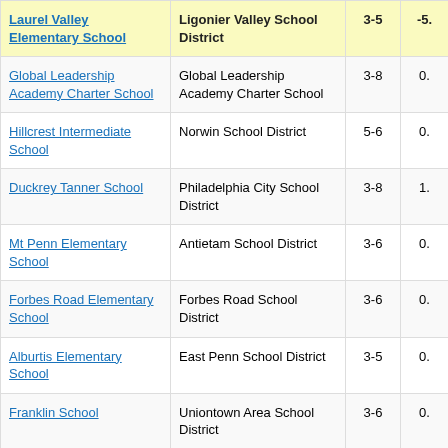| School | District | Grades | Value |
| --- | --- | --- | --- |
| Laurel Valley Elementary School | Ligonier Valley School District | 3-5 | -5. |
| Global Leadership Academy Charter School | Global Leadership Academy Charter School | 3-8 | 0. |
| Hillcrest Intermediate School | Norwin School District | 5-6 | 0. |
| Duckrey Tanner School | Philadelphia City School District | 3-8 | 1. |
| Mt Penn Elementary School | Antietam School District | 3-6 | 0. |
| Forbes Road Elementary School | Forbes Road School District | 3-6 | 0. |
| Alburtis Elementary School | East Penn School District | 3-5 | 0. |
| Franklin School | Uniontown Area School District | 3-6 | 0. |